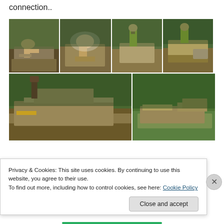connection..
[Figure (photo): Six photos of workers carving and shaping large stone blocks outdoors. Top row: four photos showing workers in various stages of stone cutting with tools. Bottom row: two wider photos showing finished stone sculptures/carvings laid out on grass.]
Privacy & Cookies: This site uses cookies. By continuing to use this website, you agree to their use.
To find out more, including how to control cookies, see here: Cookie Policy